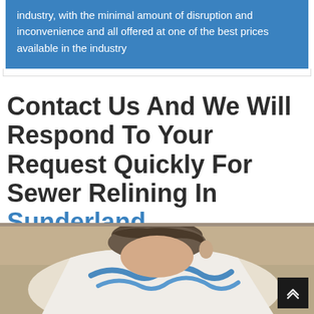industry, with the minimal amount of disruption and inconvenience and all offered at one of the best prices available in the industry
Contact Us And We Will Respond To Your Request Quickly For Sewer Relining In Sunderland
[Figure (photo): Photo of a person working, wearing a white shirt with blue design, viewed from above showing their head and upper body]